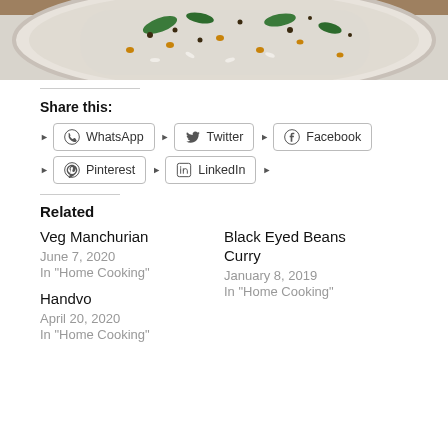[Figure (photo): Top portion of a food photo showing a bowl of rice dish with greens, mustard seeds, and curry leaves on a wooden surface]
Share this:
WhatsApp  Twitter  Facebook  Pinterest  LinkedIn
Related
Veg Manchurian
June 7, 2020
In "Home Cooking"
Black Eyed Beans Curry
January 8, 2019
In "Home Cooking"
Handvo
April 20, 2020
In "Home Cooking"